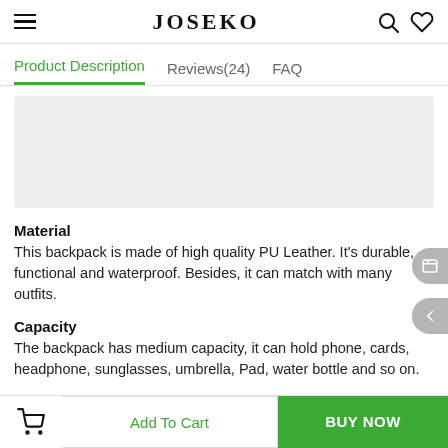JOSEKO
Product Description    Reviews(24)    FAQ
[Figure (photo): Product image placeholder (light grey background)]
Material
This backpack is made of high quality PU Leather. It's durable, functional and waterproof. Besides, it can match with many outfits.
Capacity
The backpack has medium capacity, it can hold phone, cards, headphone, sunglasses, umbrella, Pad, water bottle and so on.